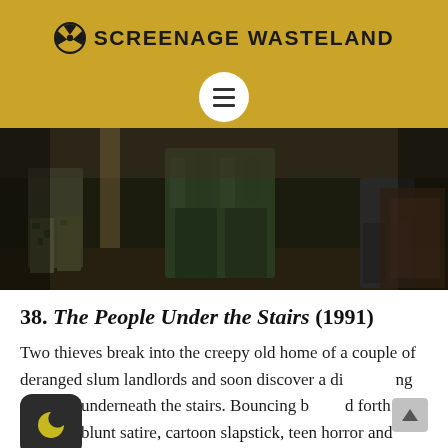☢ SCREENAGE WASTELAND
[Figure (photo): Dark scene showing figures from behind standing in what appears to be an old house interior. Horror film still from The People Under the Stairs (1991).]
38. The People Under the Stairs (1991)
Two thieves break into the creepy old home of a couple of deranged slum landlords and soon discover a disturbing scenario underneath the stairs. Bouncing back and forth between blunt satire, cartoon slapstick, teen horror and perverse violence, The People Under the